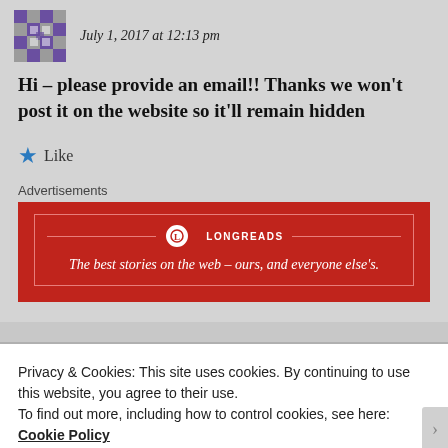July 1, 2017 at 12:13 pm
Hi – please provide an email!! Thanks we won't post it on the website so it'll remain hidden
Like
Advertisements
[Figure (logo): Longreads advertisement banner: red background with Longreads logo and tagline 'The best stories on the web – ours, and everyone else's.']
Privacy & Cookies: This site uses cookies. By continuing to use this website, you agree to their use.
To find out more, including how to control cookies, see here: Cookie Policy
Close and accept